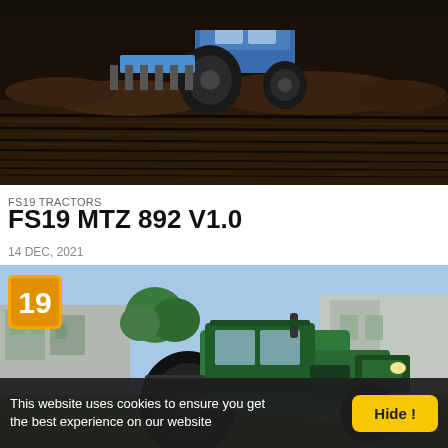[Figure (screenshot): Farming Simulator 19 screenshot showing a blue tractor plowing dark soil in a field, viewed from behind. The field shows fresh plow marks in the dark earth.]
FS19 TRACTORS
FS19 MTZ 892 V1.0
14 DEC, 2021
[Figure (screenshot): Farming Simulator 19 screenshot showing a green MTZ 892 tractor parked between farm buildings on a sunny day, with a '19' badge overlay in the top left corner.]
This website uses cookies to ensure you get the best experience on our website